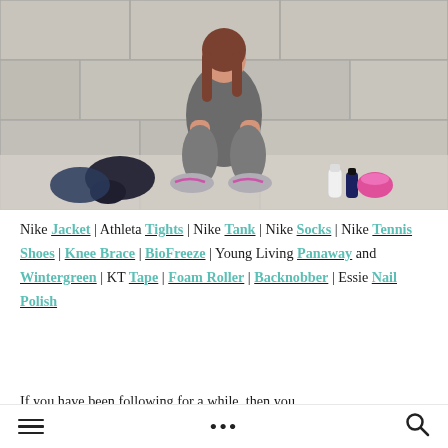[Figure (photo): A woman in athletic wear (grey tank, grey leggings, pink and grey Nike sneakers) sitting against a stone wall on a pavement floor. Around her are a dark athletic bag/jacket to the left, and several small items (bottles, pink container) to the right.]
Nike Jacket | Athleta Tights | Nike Tank | Nike Socks | Nike Tennis Shoes | Knee Brace | BioFreeze | Young Living Panaway and Wintergreen | KT Tape | Foam Roller | Backnobber | Essie Nail Polish
If you have been following for a while, then you
≡  •••  🔍